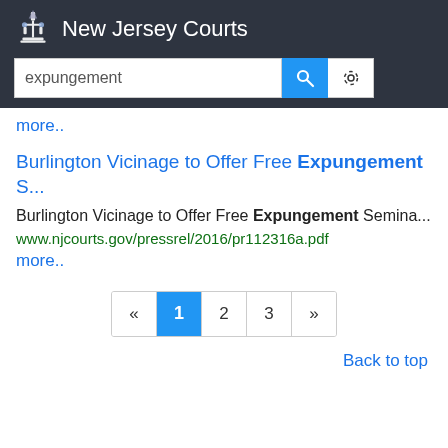New Jersey Courts — search bar with query: expungement
more..
Burlington Vicinage to Offer Free Expungement S...
Burlington Vicinage to Offer Free Expungement Semina... www.njcourts.gov/pressrel/2016/pr112316a.pdf
more..
Pagination: « 1 2 3 »
Back to top